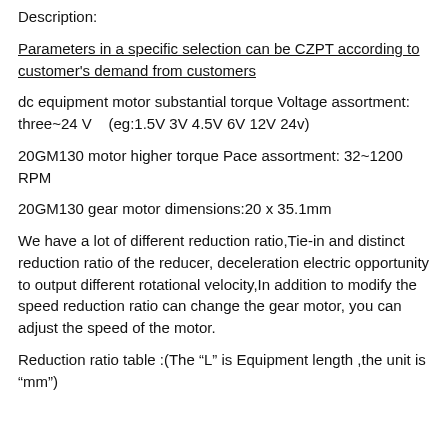Description:
Parameters in a specific selection can be CZPT according to customer's demand from customers
dc equipment motor substantial torque Voltage assortment: three~24 V    (eg:1.5V 3V 4.5V 6V 12V 24v)
20GM130 motor higher torque Pace assortment: 32~1200 RPM
20GM130 gear motor dimensions:20 x 35.1mm
We have a lot of different reduction ratio,Tie-in and distinct reduction ratio of the reducer, deceleration electric opportunity to output different rotational velocity,In addition to modify the speed reduction ratio can change the gear motor, you can adjust the speed of the motor.
Reduction ratio table :(The “L” is Equipment length ,the unit is “mm”)